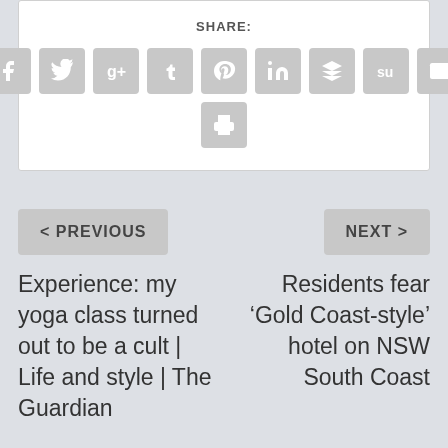SHARE:
[Figure (screenshot): Row of social media share icon buttons: Facebook, Twitter, Google+, Tumblr, Pinterest, LinkedIn, Buffer, StumbleUpon, Email, and a Print button below]
< PREVIOUS
NEXT >
Experience: my yoga class turned out to be a cult | Life and style | The Guardian
Residents fear 'Gold Coast-style' hotel on NSW South Coast